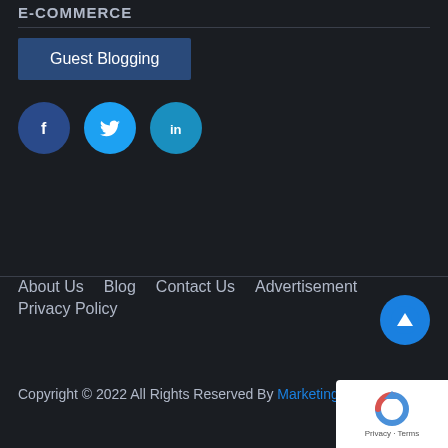E-COMMERCE
Guest Blogging
[Figure (other): Three social media icon buttons: Facebook (f), Twitter (bird icon), LinkedIn (in)]
About Us   Blog   Contact Us   Advertisement   Privacy Policy
Copyright © 2022 All Rights Reserved By Marketing2Bu...
[Figure (other): reCAPTCHA badge with Google logo - Privacy · Terms]